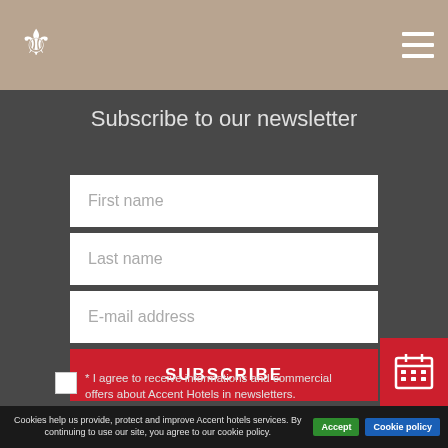[Figure (logo): Accent Hotels crown/crest logo in white on tan/beige header bar]
Subscribe to our newsletter
[Figure (screenshot): Newsletter subscription form with First name, Last name, E-mail address fields and a red SUBSCRIBE button]
* I agree to receive informations and commercial offers about Accent Hotels in newsletters.
[Figure (infographic): Red calendar icon button in bottom right corner]
Cookies help us provide, protect and improve Accent hotels services. By continuing to use our site, you agree to our cookie policy.
Accept
Cookie policy